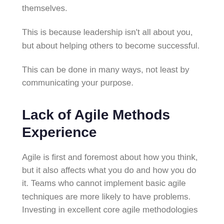themselves.
This is because leadership isn't all about you, but about helping others to become successful.
This can be done in many ways, not least by communicating your purpose.
Lack of Agile Methods Experience
Agile is first and foremost about how you think, but it also affects what you do and how you do it. Teams who cannot implement basic agile techniques are more likely to have problems. Investing in excellent core agile methodologies